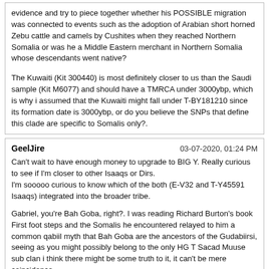evidence and try to piece together whether his POSSIBLE migration was connected to events such as the adoption of Arabian short horned Zebu cattle and camels by Cushites when they reached Northern Somalia or was he a Middle Eastern merchant in Northern Somalia whose descendants went native?
The Kuwaiti (Kit 300440) is most definitely closer to us than the Saudi sample (Kit M6077) and should have a TMRCA under 3000ybp, which is why i assumed that the Kuwaiti might fall under T-BY181210 since its formation date is 3000ybp, or do you believe the SNPs that define this clade are specific to Somalis only?.
GeelJire	03-07-2020, 01:24 PM
Can't wait to have enough money to upgrade to BIG Y. Really curious to see if I'm closer to other Isaaqs or Dirs.
I'm sooooo curious to know which of the both (E-V32 and T-Y45591 Isaaqs) integrated into the broader tribe.

Gabriel, you're Bah Goba, right?. I was reading Richard Burton's book First foot steps and the Somalis he encountered relayed to him a common qabiil myth that Bah Goba are the ancestors of the Gudabiirsi, seeing as you might possibly belong to the only HG T Sacad Muuse sub clan i think there might be some truth to it, it can't be mere coincidence.

Screenshot from Book
36720
drobbah	03-07-2020, 01:38 PM
Gabriel, you're Bah Goba, right?. I was reading Richard Burton's book First foot steps and the Somalis he encountered relayed to him a common qabiil myth that Bah Goba are the ancestors of the Gudabiirsi, seeing as you might possibly belong to the only HG T Sacad Muuse sub clan i think there might be some truth to it, it can't be mere coincidence.